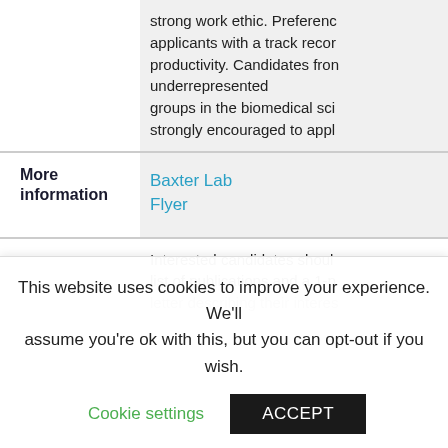strong work ethic. Preference applicants with a track record productivity. Candidates from underrepresented groups in the biomedical sciences strongly encouraged to apply
More information
Baxter Lab
Flyer
Interested candidates should list of publications and a 1-page letter describing their interests
This website uses cookies to improve your experience. We'll assume you're ok with this, but you can opt-out if you wish.
Cookie settings
ACCEPT